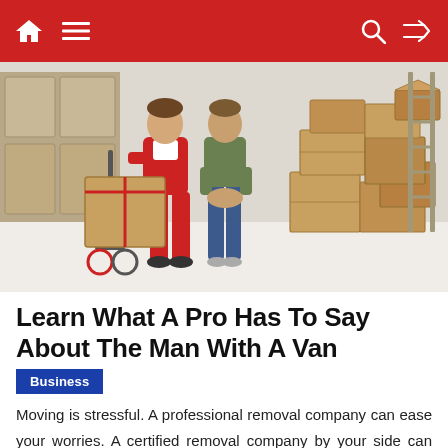Navigation bar with home, menu, search, and shuffle icons
[Figure (photo): A mover in red overalls using a hand truck to move cardboard boxes, with two other people standing nearby, surrounded by stacked moving boxes in a white room.]
Learn What A Pro Has To Say About The Man With A Van
Business
Moving is stressful. A professional removal company can ease your worries. A certified removal company by your side can help you in moving. Expert packers are one of the biggest reasons why people are choosing to use removal companies. While it may seem easy